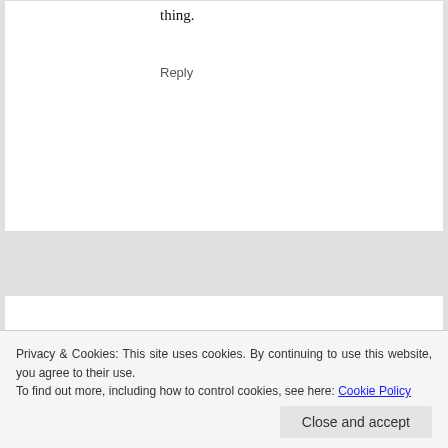thing.
Reply
[Figure (photo): Avatar photo of Blair Villanueva on yellow background]
BLAIR VILLANUEVA SAYS
May 2, 2017 at 6:13 am
Fashion is a form of art, an expression of your identity. We might be a copycat, but should
Privacy & Cookies: This site uses cookies. By continuing to use this website, you agree to their use. To find out more, including how to control cookies, see here: Cookie Policy
Close and accept